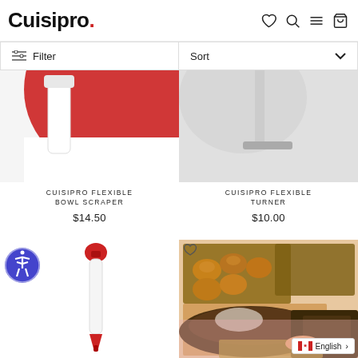Cuisipro.
Filter
Sort
CUISIPRO FLEXIBLE BOWL SCRAPER
$14.50
CUISIPRO FLEXIBLE TURNER
$10.00
[Figure (photo): Cuisipro flexible bowl scraper product image with red background]
[Figure (photo): Cuisipro flexible turner product image with light background]
[Figure (photo): Basting pen/syringe kitchen tool, white with red tip]
[Figure (photo): Baked bread rolls on baking sheet, and a dark loaf being removed from pan with a flexible turner]
English >